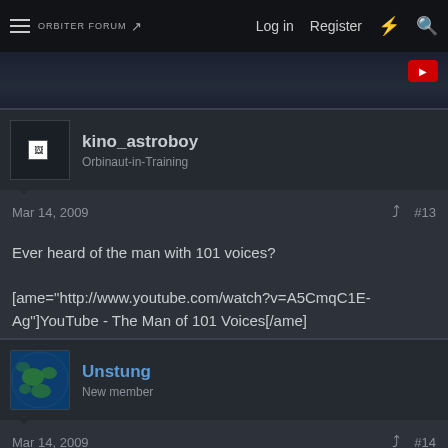ORBITER FORUM | Log in | Register
kino_astroboy
Orbinaut-in-Training
Mar 14, 2009   #13
Ever heard of the man with 101 voices?

[ame="http://www.youtube.com/watch?v=A5CmqC1E-Ag"]YouTube - The Man of 101 Voices[/ame]
Unstung
New member
Mar 14, 2009   #14
i have so far to go